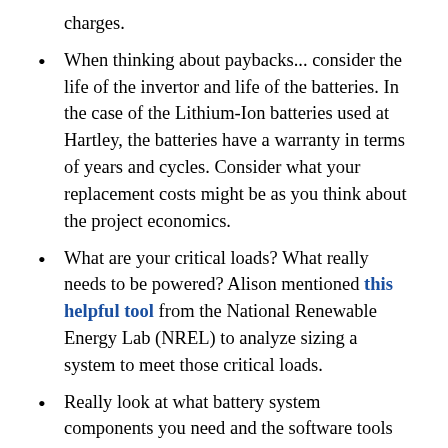charges.
When thinking about paybacks... consider the life of the invertor and life of the batteries. In the case of the Lithium-Ion batteries used at Hartley, the batteries have a warranty in terms of years and cycles. Consider what your replacement costs might be as you think about the project economics.
What are your critical loads? What really needs to be powered? Alison mentioned this helpful tool from the National Renewable Energy Lab (NREL) to analyze sizing a system to meet those critical loads.
Really look at what battery system components you need and the software tools that come with it; how are those supported and how much are you